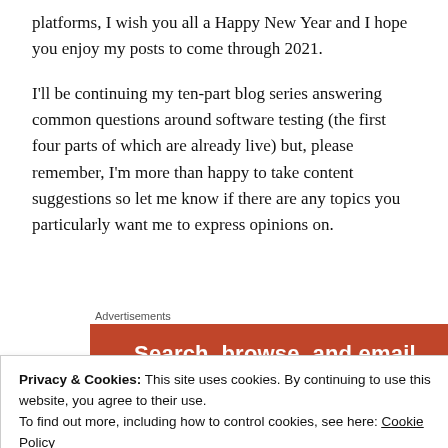platforms, I wish you all a Happy New Year and I hope you enjoy my posts to come through 2021.
I'll be continuing my ten-part blog series answering common questions around software testing (the first four parts of which are already live) but, please remember, I'm more than happy to take content suggestions so let me know if there are any topics you particularly want me to express opinions on.
Advertisements
[Figure (other): Advertisement banner with orange background and white bold text reading 'Search, browse, and email']
Privacy & Cookies: This site uses cookies. By continuing to use this website, you agree to their use.
To find out more, including how to control cookies, see here: Cookie Policy
Close and accept